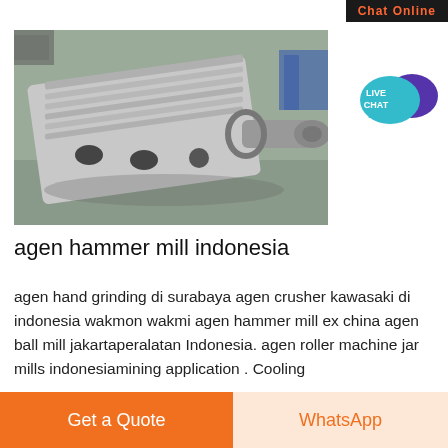Chat Online
[Figure (photo): Industrial gearbox/reducer unit in gray paint, lying on a factory floor. The unit has a ribbed top cover, circular flanges, and a protruding output shaft on the right side.]
[Figure (infographic): Live Chat button: teal speech bubble with white text 'LIVE CHAT' and a purple chat bubble icon]
agen hammer mill indonesia
agen hand grinding di surabaya agen crusher kawasaki di indonesia wakmon wakmi agen hammer mill ex china agen ball mill jakartaperalatan Indonesia. agen roller machine jar mills indonesiamining application . Cooling
Get a Quote  WhatsApp